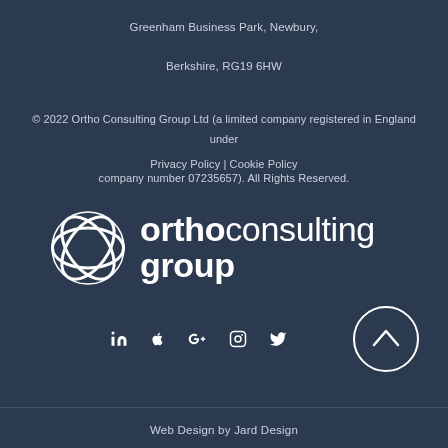Greenham Business Park, Newbury,
Berkshire, RG19 6HW
© 2022 Ortho Consulting Group Ltd (a limited company registered in England under company number 07235657). All Rights Reserved.
Privacy Policy | Cookie Policy
[Figure (logo): Ortho Consulting Group logo — white globe/orbit icon on the left, with 'orthoconsulting group' text in white to the right]
[Figure (infographic): Social media icons in white: LinkedIn, Apple, Google+, Instagram, Twitter]
[Figure (infographic): Circular scroll-to-top button with upward arrow]
Web Design by Jard Design